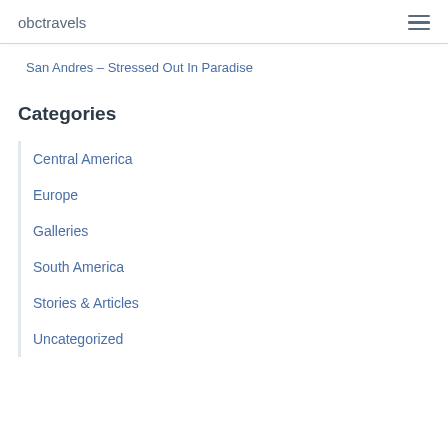obctravels
San Andres – Stressed Out In Paradise
Categories
Central America
Europe
Galleries
South America
Stories & Articles
Uncategorized